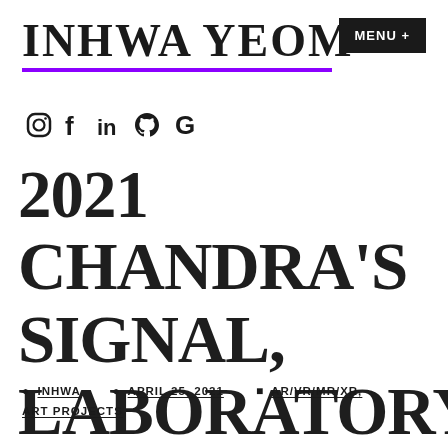INHWA YEOM
[Figure (other): Social media icons row: Instagram, Facebook, LinkedIn, GitHub, Google]
2021 CHANDRA'S SIGNAL, LABORATORY RESIDENCY, SPOKANE-REMOTE
INHWA  APRIL 25, 2021  AR/VR/MR/XR, ART PROJECTS